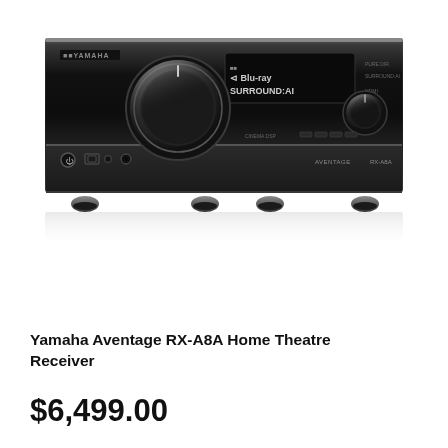[Figure (photo): Yamaha Aventage RX-A8A Home Theatre Receiver — front view of a large black AV receiver with a prominent volume knob, display panel showing 'Blu-ray Surround:AI', multiple control buttons, and a smaller knob on the right side. The unit has four feet and a lower panel with USB, HDMI and headphone ports. Product reflection visible below.]
Yamaha Aventage RX-A8A Home Theatre Receiver
$6,499.00